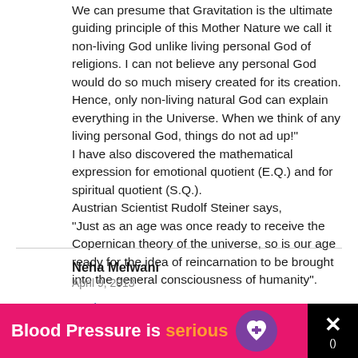We can presume that Gravitation is the ultimate guiding principle of this Mother Nature we call it non-living God unlike living personal God of religions. I can not believe any personal God would do so much misery created for its creation. Hence, only non-living natural God can explain everything in the Universe. When we think of any living personal God, things do not ad up!" I have also discovered the mathematical expression for emotional quotient (E.Q.) and for spiritual quotient (S.Q.). Austrian Scientist Rudolf Steiner says, "Just as an age was once ready to receive the Copernican theory of the universe, so is our age ready for the idea of reincarnation to be brought into the general consciousness of humanity".
Reply
Neha Melwani
April 9, 2013
[Figure (infographic): Ad banner: pink/magenta background with text 'Blood Pressure is serious' with a heart icon, and a close button on the right]